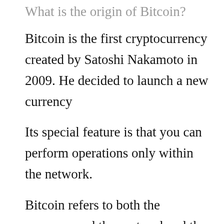What is the origin of Bitcoin?
Bitcoin is the first cryptocurrency created by Satoshi Nakamoto in 2009. He decided to launch a new currency
Its special feature is that you can perform operations only within the network.
Bitcoin refers to both the currency and the protocol and the red P2P it relies on.
So what is Bitcoin?